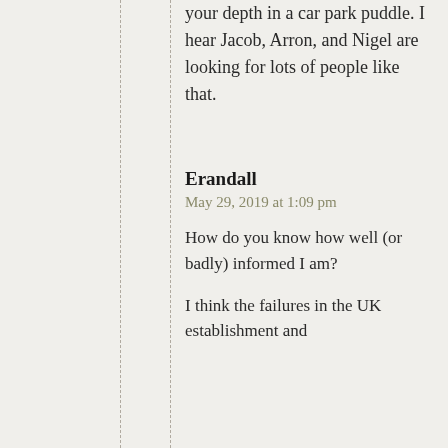your depth in a car park puddle. I hear Jacob, Arron, and Nigel are looking for lots of people like that.
Erandall
May 29, 2019 at 1:09 pm
How do you know how well (or badly) informed I am?
I think the failures in the UK establishment and